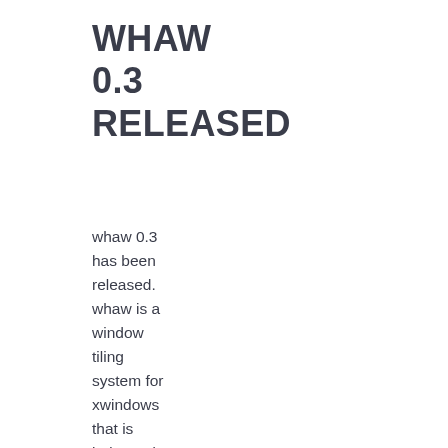WHAW 0.3 RELEASED
whaw 0.3 has been released. whaw is a window tiling system for xwindows that is independent of the underlying window manager allowing you to add basic tiling to any window manager.